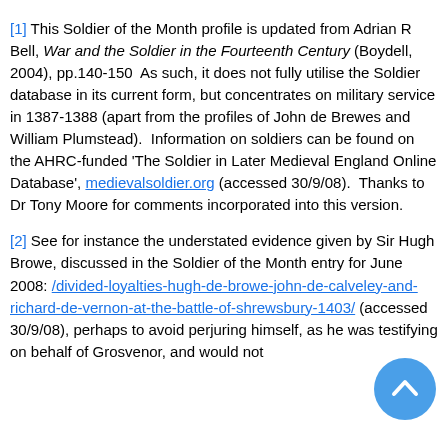[1] This Soldier of the Month profile is updated from Adrian R Bell, War and the Soldier in the Fourteenth Century (Boydell, 2004), pp.140-150  As such, it does not fully utilise the Soldier database in its current form, but concentrates on military service in 1387-1388 (apart from the profiles of John de Brewes and William Plumstead).  Information on soldiers can be found on the AHRC-funded 'The Soldier in Later Medieval England Online Database', medievalsoldier.org (accessed 30/9/08).  Thanks to Dr Tony Moore for comments incorporated into this version.
[2] See for instance the understated evidence given by Sir Hugh Browe, discussed in the Soldier of the Month entry for June 2008: /divided-loyalties-hugh-de-browe-john-de-calveley-and-richard-de-vernon-at-the-battle-of-shrewsbury-1403/ (accessed 30/9/08), perhaps to avoid perjuring himself, as he was testifying on behalf of Grosvenor, and would not